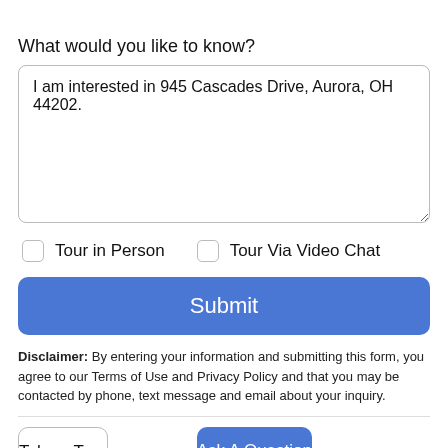What would you like to know?
I am interested in 945 Cascades Drive, Aurora, OH 44202.
Tour in Person
Tour Via Video Chat
Submit
Disclaimer: By entering your information and submitting this form, you agree to our Terms of Use and Privacy Policy and that you may be contacted by phone, text message and email about your inquiry.
Take a Tour
Ask A Question